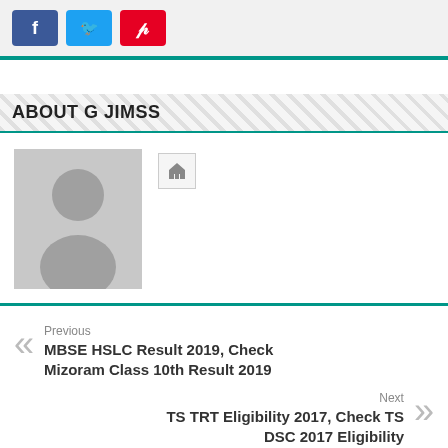[Figure (other): Social share buttons: Facebook (blue), Twitter (cyan), Pinterest (red)]
ABOUT G JIMSS
[Figure (photo): Default avatar/profile placeholder image showing silhouette of a person, gray background, with a small home icon button to the right]
Previous
MBSE HSLC Result 2019, Check Mizoram Class 10th Result 2019
Next
TS TRT Eligibility 2017, Check TS DSC 2017 Eligibility
RELATED ARTICLES